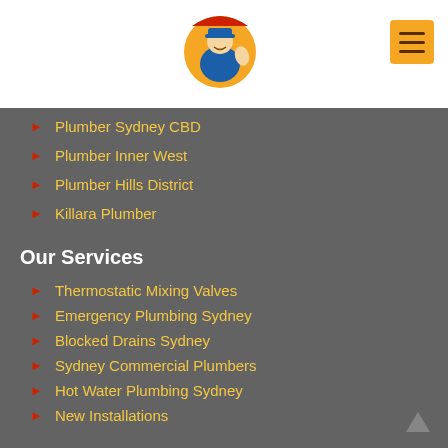[Figure (logo): Plumber logo with cartoon plumber giving thumbs up, circular badge with orange/red/blue/yellow colors]
[Figure (other): Orange hamburger menu button with three horizontal lines]
Plumber Sydney CBD
Plumber Inner West
Plumber Hills District
Killara Plumber
Our Services
Thermostatic Mixing Valves
Emergency Plumbing Sydney
Blocked Drains Sydney
Sydney Commercial Plumbers
Hot Water Plumbing Sydney
New Installations